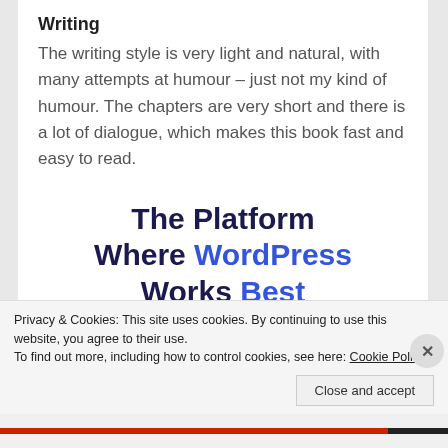Writing
The writing style is very light and natural, with many attempts at humour – just not my kind of humour. The chapters are very short and there is a lot of dialogue, which makes this book fast and easy to read.
[Figure (infographic): Advertisement banner: 'The Platform Where WordPress Works Best' with a blue SEE PRICING button]
Privacy & Cookies: This site uses cookies. By continuing to use this website, you agree to their use.
To find out more, including how to control cookies, see here: Cookie Policy
Close and accept